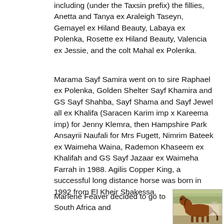including (under the Taxsin prefix) the fillies, Anetta and Tanya ex Araleigh Taseyn, Gemayel ex Hiland Beauty, Labaya ex Polenka, Rosette ex Hiland Beauty, Valencia ex Jessie, and the colt Mahal ex Polenka.
Marama Sayf Samira went on to sire Raphael ex Polenka, Golden Shelter Sayf Khamira and GS Sayf Shahba, Sayf Shama and Sayf Jewel all ex Khalifa (Saracen Karim imp x Kareema imp) for Jenny Klemra, then Hampshire Park Ansayrii Naufali for Mrs Fugett, Nimrim Bateek ex Waimeha Waina, Rademon Khaseem ex Khalifah and GS Sayf Jazaar ex Waimeha Farrah in 1988. Agilis Copper King, a successful long distance horse was born in 1992 from El Kheir Shakessa.
Marlene Feaver decided to go to South Africa and
[Figure (photo): A chestnut Arabian horse standing in profile at what appears to be a show or outdoor event, with trees and buildings visible in the background.]